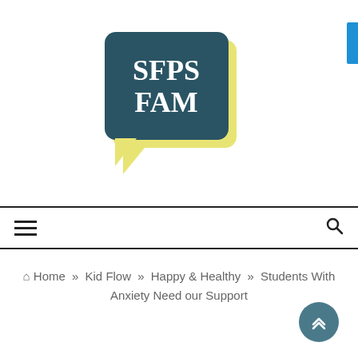[Figure (logo): SFPS FAM logo - speech bubble shape with dark teal background and yellow border, white serif text reading SFPS FAM]
≡  🔍
🏠 Home » Kid Flow » Happy & Healthy » Students With Anxiety Need our Support